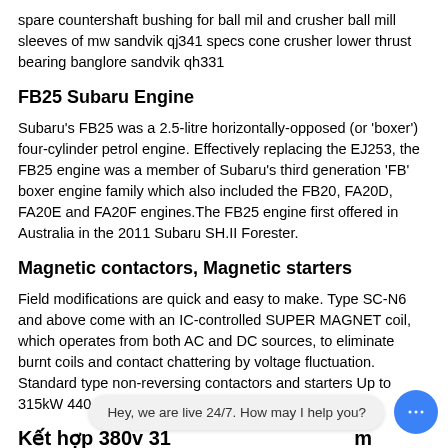spare countershaft bushing for ball mil and crusher ball mill sleeves of mw sandvik qj341 specs cone crusher lower thrust bearing banglore sandvik qh331
FB25 Subaru Engine
Subaru's FB25 was a 2.5-litre horizontally-opposed (or 'boxer') four-cylinder petrol engine. Effectively replacing the EJ253, the FB25 engine was a member of Subaru’s third generation 'FB' boxer engine family which also included the FB20, FA20D, FA20E and FA20F engines.The FB25 engine first offered in Australia in the 2011 Subaru SH.II Forester.
Magnetic contactors, Magnetic starters
Field modifications are quick and easy to make. Type SC-N6 and above come with an IC-controlled SUPER MAGNET coil, which operates from both AC and DC sources, to eliminate burnt coils and contact chattering by voltage fluctuation. Standard type non-reversing contactors and starters Up to 315kW 440 Volts 3-phase.
Kết hợp 380v 31… các mục đích